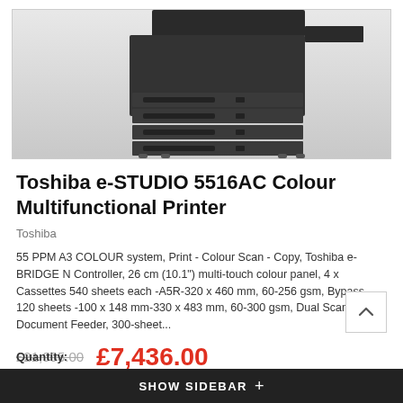[Figure (photo): Toshiba e-STUDIO 5516AC Colour Multifunctional Printer product photo showing a large dark grey/black multifunction printer with multiple paper cassette drawers on a light gradient background]
Toshiba e-STUDIO 5516AC Colour Multifunctional Printer
Toshiba
55 PPM A3 COLOUR system, Print - Colour Scan - Copy, Toshiba e-BRIDGE N Controller, 26 cm (10.1") multi-touch colour panel, 4 x Cassettes 540 sheets each -A5R-320 x 460 mm, 60-256 gsm, Bypass, 120 sheets -100 x 148 mm-330 x 483 mm, 60-300 gsm, Dual Scan Document Feeder, 300-sheet...
£21,995.00  £7,436.00
Quantity:
SHOW SIDEBAR +